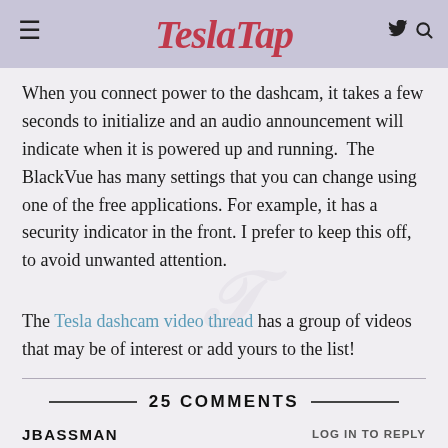TeslaTap
When you connect power to the dashcam, it takes a few seconds to initialize and an audio announcement will indicate when it is powered up and running.  The BlackVue has many settings that you can change using one of the free applications. For example, it has a security indicator in the front. I prefer to keep this off, to avoid unwanted attention.
The Tesla dashcam video thread has a group of videos that may be of interest or add yours to the list!
25 COMMENTS
JBASSMAN
LOG IN TO REPLY